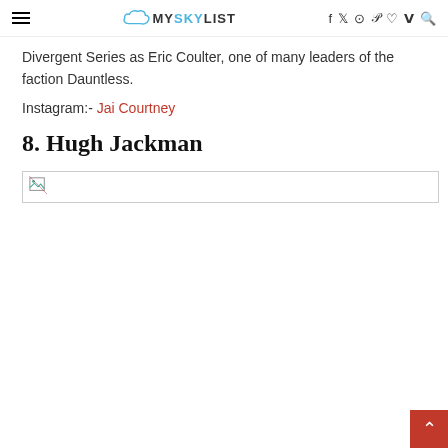≡  MYSKYLIST  f  𝕏  ⊙  𝜋  ♡  V  🔍
Divergent Series as Eric Coulter, one of many leaders of the faction Dauntless.
Instagram:- Jai Courtney
8. Hugh Jackman
[Figure (photo): Broken image placeholder for Hugh Jackman photo]